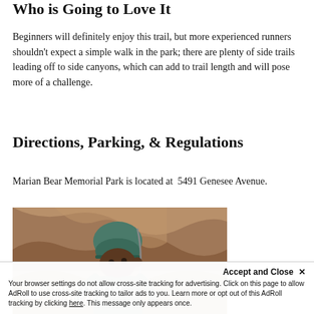Who is Going to Love It
Beginners will definitely enjoy this trail, but more experienced runners shouldn't expect a simple walk in the park; there are plenty of side trails leading off to side canyons, which can add to trail length and will pose more of a challenge.
Directions, Parking, & Regulations
Marian Bear Memorial Park is located at  5491 Genesee Avenue.
[Figure (photo): A child wearing a green helmet and hoodie rock climbing, with an Outdoor Outreach logo overlay showing a mountain icon, the word OUTDOOR in large white bold text, and OUTREACH below it.]
Accept and Close ✕
Your browser settings do not allow cross-site tracking for advertising. Click on this page to allow AdRoll to use cross-site tracking to tailor ads to you. Learn more or opt out of this AdRoll tracking by clicking here. This message only appears once.